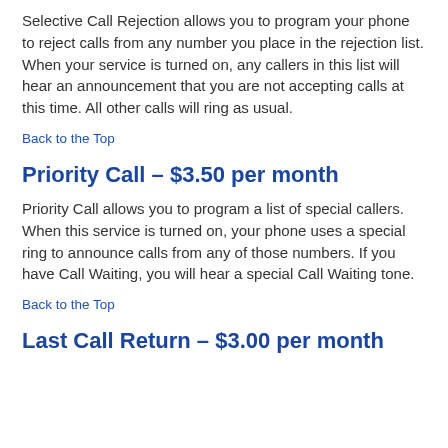Selective Call Rejection allows you to program your phone to reject calls from any number you place in the rejection list. When your service is turned on, any callers in this list will hear an announcement that you are not accepting calls at this time. All other calls will ring as usual.
Back to the Top
Priority Call – $3.50 per month
Priority Call allows you to program a list of special callers. When this service is turned on, your phone uses a special ring to announce calls from any of those numbers. If you have Call Waiting, you will hear a special Call Waiting tone.
Back to the Top
Last Call Return – $3.00 per month